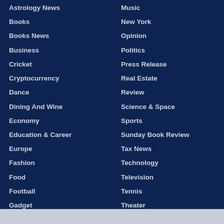Astrology News
Books
Books News
Business
Cricket
Cryptocurrency
Dance
Dining And Wine
Economy
Education & Career
Europe
Fashion
Food
Football
Gadget
Gaming
Golf
Music
New York
Opinion
Politics
Press Release
Real Estate
Review
Science & Space
Sports
Sunday Book Review
Tax News
Technology
Television
Tennis
Theater
Top Movie Reviews
Top Stories